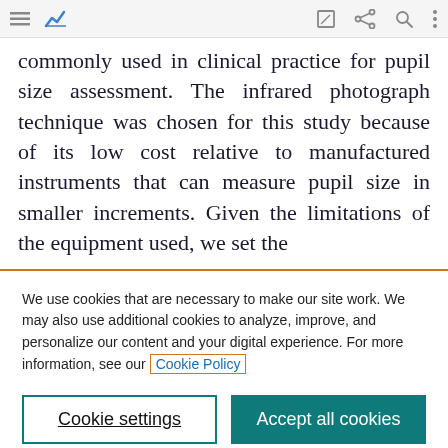[toolbar icons: hamburger menu, blue chart icon, edit, share, search, more]
commonly used in clinical practice for pupil size assessment. The infrared photograph technique was chosen for this study because of its low cost relative to manufactured instruments that can measure pupil size in smaller increments. Given the limitations of the equipment used, we set the
We use cookies that are necessary to make our site work. We may also use additional cookies to analyze, improve, and personalize our content and your digital experience. For more information, see our Cookie Policy
Cookie settings
Accept all cookies